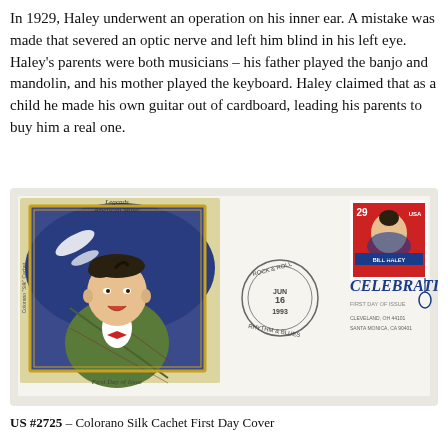In 1929, Haley underwent an operation on his inner ear. A mistake was made that severed an optic nerve and left him blind in his left eye. Haley's parents were both musicians – his father played the banjo and mandolin, and his mother played the keyboard. Haley claimed that as a child he made his own guitar out of cardboard, leading his parents to buy him a real one.
[Figure (photo): First Day Cover envelope featuring Bill Haley. Left side shows a colorful illustrated cachet of Bill Haley singing, labeled 'Legends American Music' and 'Colorano Silk Cachet'. Center has a circular postmark reading 'ROCK & ROLL RHYTHM & BLUES JUN 16 1993'. Right side shows a 29-cent US stamp with Bill Haley playing guitar, and a 'CELEBRATIONS' cancellation mark. Bottom of cachet reads 'First Day of Issue'.]
US #2725 – Colorano Silk Cachet First Day Cover